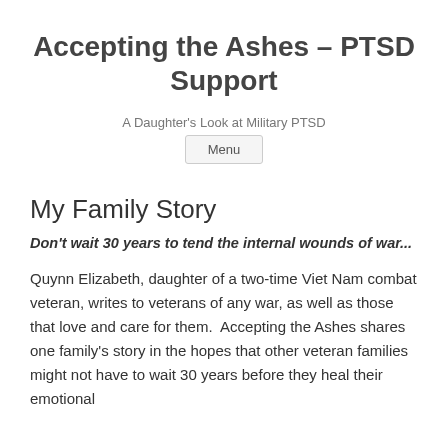Accepting the Ashes – PTSD Support
A Daughter's Look at Military PTSD
Menu
My Family Story
Don't wait 30 years to tend the internal wounds of war...
Quynn Elizabeth, daughter of a two-time Viet Nam combat veteran, writes to veterans of any war, as well as those that love and care for them.  Accepting the Ashes shares one family's story in the hopes that other veteran families might not have to wait 30 years before they heal their emotional